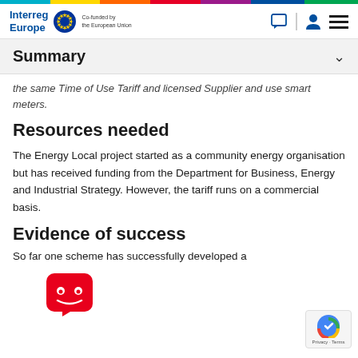Interreg Europe | Co-funded by the European Union
Summary
the same Time of Use Tariff and licensed Supplier and use smart meters.
Resources needed
The Energy Local project started as a community energy organisation but has received funding from the Department for Business, Energy and Industrial Strategy. However, the tariff runs on a commercial basis.
Evidence of success
So far one scheme has successfully developed a